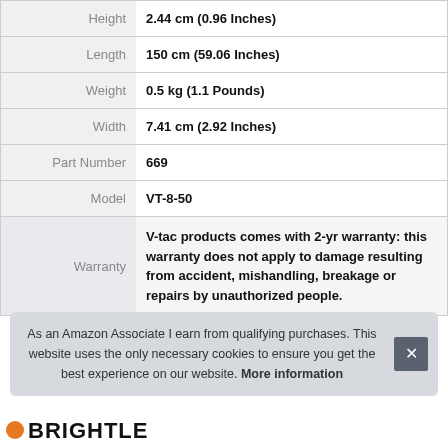| Attribute | Value |
| --- | --- |
| Height | 2.44 cm (0.96 Inches) |
| Length | 150 cm (59.06 Inches) |
| Weight | 0.5 kg (1.1 Pounds) |
| Width | 7.41 cm (2.92 Inches) |
| Part Number | 669 |
| Model | VT-8-50 |
| Warranty | V-tac products comes with 2-yr warranty: this warranty does not apply to damage resulting from accident, mishandling, breakage or repairs by unauthorized people. |
As an Amazon Associate I earn from qualifying purchases. This website uses the only necessary cookies to ensure you get the best experience on our website. More information